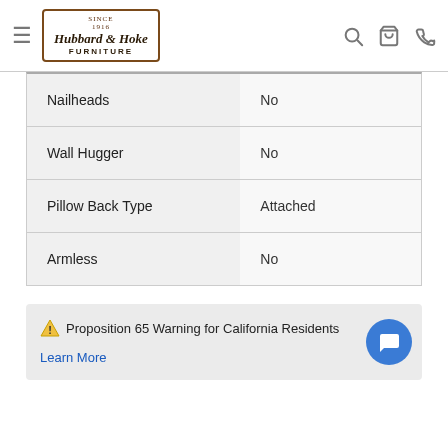Hubbard & Hoke Furniture
| Feature | Value |
| --- | --- |
| Nailheads | No |
| Wall Hugger | No |
| Pillow Back Type | Attached |
| Armless | No |
⚠ Proposition 65 Warning for California Residents
Learn More